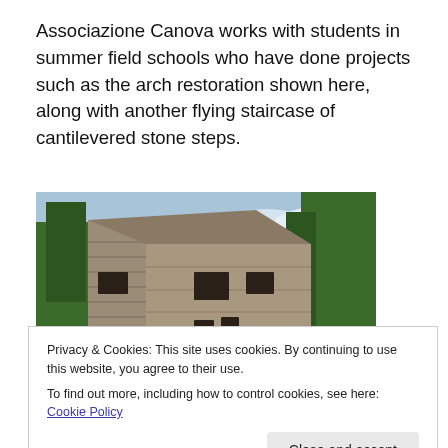Associazione Canova works with students in summer field schools who have done projects such as the arch restoration shown here, along with another flying staircase of cantilevered stone steps.
[Figure (photo): Photograph of a tall stone building with rectangular windows, surrounded by green trees with a cloudy blue sky in the background.]
Privacy & Cookies: This site uses cookies. By continuing to use this website, you agree to their use.
To find out more, including how to control cookies, see here: Cookie Policy
[Figure (photo): Partial photo visible at the bottom of the page, showing a stone structure.]